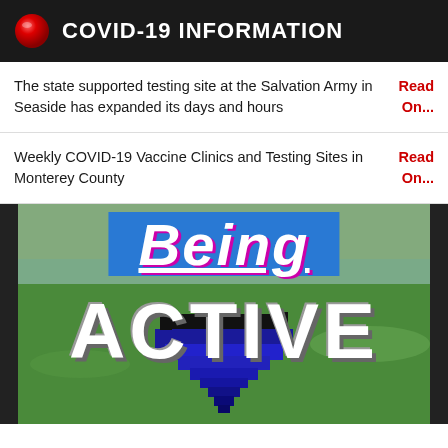COVID-19 INFORMATION
The state supported testing site at the Salvation Army in Seaside has expanded its days and hours
Read On...
Weekly COVID-19 Vaccine Clinics and Testing Sites in Monterey County
Read On...
[Figure (illustration): Being Active promotional graphic with large text 'Being ACTIVE' on a blue banner/pixel art background over a green landscape photo]